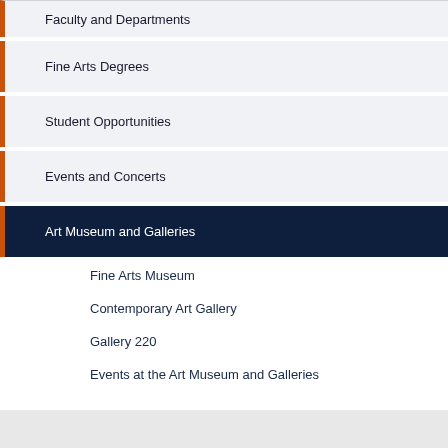Faculty and Departments
Fine Arts Degrees
Student Opportunities
Events and Concerts
Art Museum and Galleries
Fine Arts Museum
Contemporary Art Gallery
Gallery 220
Events at the Art Museum and Galleries